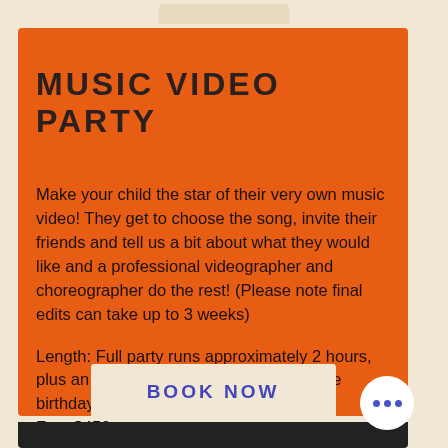MUSIC VIDEO PARTY
Make your child the star of their very own music video! They get to choose the song, invite their friends and tell us a bit about what they would like and a professional videographer and choreographer do the rest! (Please note final edits can take up to 3 weeks)
Length: Full party runs approximately 2 hours, plus an additional 30 minutes with just the birthday boy or girl
Fee: $450
BOOK NOW